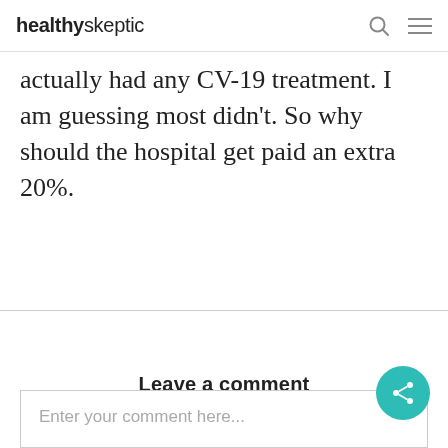healthyskeptic
actually had any CV-19 treatment. I am guessing most didn't. So why should the hospital get paid an extra 20%.
Leave a comment
Enter your comment here...